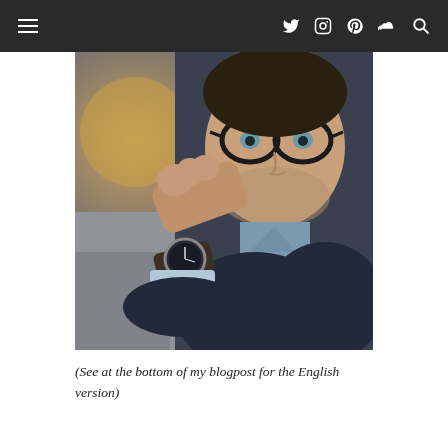Navigation bar with hamburger menu and social icons (Twitter, Instagram, Pinterest, SoundCloud, Search)
[Figure (photo): A man with glasses wearing a dark navy cardigan and light blue dress shirt, raising his wrist to display a classic analog watch with a dark face and leather strap. Bokeh background with warm tones.]
(See at the bottom of my blogpost for the English version)